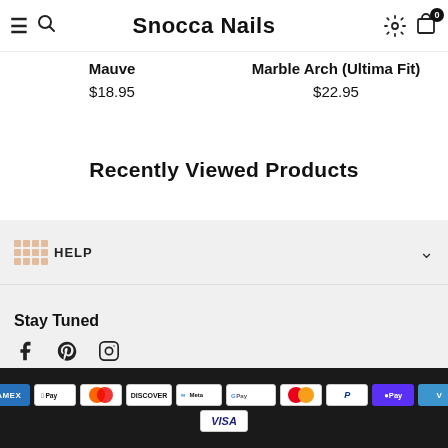Snocca Nails
Mauve $18.95
Marble Arch (Ultima Fit) $22.95
Recently Viewed Products
HELP
Stay Tuned
Payment methods: American Express, Apple Pay, Diners Club, Discover, Meta Pay, Google Pay, Mastercard, PayPal, Shop Pay, Venmo, Visa